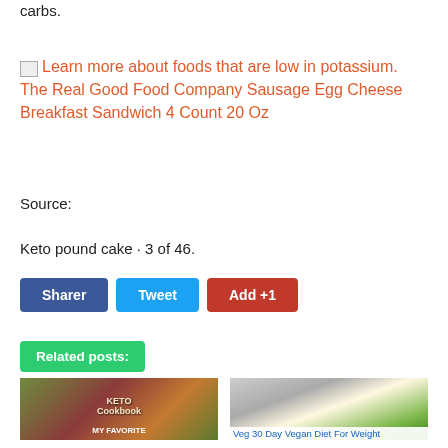carbs.
Learn more about foods that are low in potassium. The Real Good Food Company Sausage Egg Cheese Breakfast Sandwich 4 Count 20 Oz
Source:
Keto pound cake · 3 of 46.
Sharer
Tweet
Add +1
Related posts:
[Figure (photo): Keto Cookbook with food items including avocado, tomatoes, meat, salmon, nuts]
[Figure (photo): Egg and avocado slices on plate - Veg 30 Day Vegan Diet For Weight]
Veg 30 Day Vegan Diet For Weight